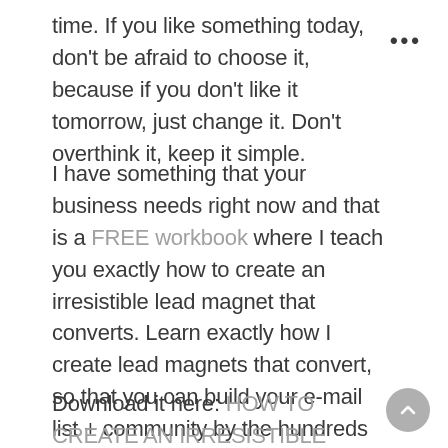time. If you like something today, don't be afraid to choose it, because if you don't like it tomorrow, just change it. Don't overthink it, keep it simple.
I have something that your business needs right now and that is a FREE workbook where I teach you exactly how to create an irresistible lead magnet that converts. Learn exactly how I create lead magnets that convert, so that you can build your e-mail list + community by the hundreds every month.
Download it here: HOW TO CREATE AN IRRESISTIBLE LEAD MAGNET THAT CONVERTS